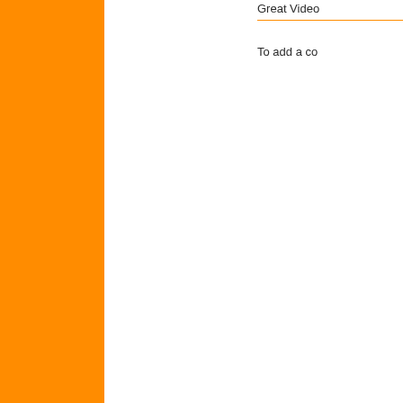[Figure (other): Orange vertical bar on the left side of the page]
Great Video
To add a co